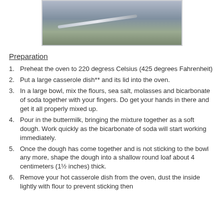[Figure (photo): Photo of bread on a plate with a butter knife, on a light blue checkered cloth background]
Preparation
Preheat the oven to 220 degress Celsius (425 degrees Fahrenheit)
Put a large casserole dish** and its lid into the oven.
In a large bowl, mix the flours, sea salt, molasses and bicarbonate of soda together with your fingers. Do get your hands in there and get it all properly mixed up.
Pour in the buttermilk, bringing the mixture together as a soft dough. Work quickly as the bicarbonate of soda will start working immediately.
Once the dough has come together and is not sticking to the bowl any more, shape the dough into a shallow round loaf about 4 centimeters (1½ inches) thick.
Remove your hot casserole dish from the oven, dust the inside lightly with flour to prevent sticking then